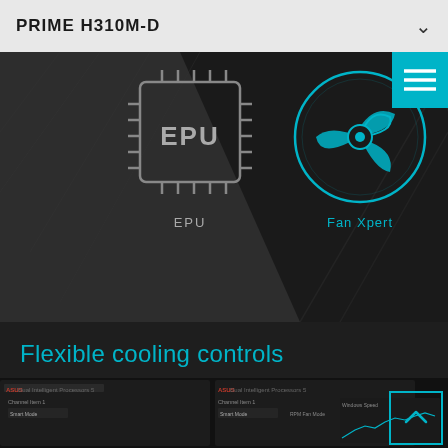PRIME H310M-D
[Figure (screenshot): Dark banner showing EPU chip icon and Fan Xpert fan icon with diagonal design elements and a cyan hamburger menu button top-right]
Flexible cooling controls
Prime 300 Series motherboards offer comprehensive control over system fans, via the included Fan Expert software. Auto-Tuning mode intelligently configures all parameters with a single click.
[Figure (screenshot): Partial screenshot of ASUS Dual Intelligent Processors 5 software interface at the bottom of the page]